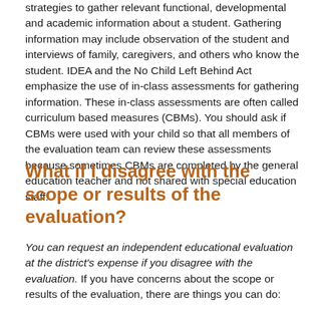strategies to gather relevant functional, developmental and academic information about a student. Gathering information may include observation of the student and interviews of family, caregivers, and others who know the student. IDEA and the No Child Left Behind Act emphasize the use of in-class assessments for gathering information. These in-class assessments are often called curriculum based measures (CBMs). You should ask if CBMs were used with your child so that all members of the evaluation team can review these assessments because sometimes CBMs are completed by the general education teacher and not shared with special education staff.
What if I disagree with the scope or results of the evaluation?
You can request an independent educational evaluation at the district's expense if you disagree with the evaluation. If you have concerns about the scope or results of the evaluation, there are things you can do: